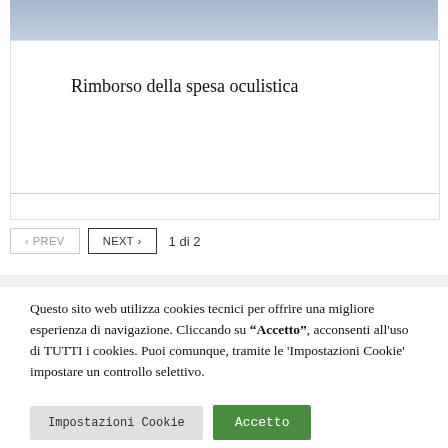[Figure (photo): Top portion of a photo showing a person wearing a denim jacket]
Rimborso della spesa oculistica
‹ PREV   NEXT ›   1 di 2
Questo sito web utilizza cookies tecnici per offrire una migliore esperienza di navigazione. Cliccando su "Accetto", acconsenti all'uso di TUTTI i cookies. Puoi comunque, tramite le 'Impostazioni Cookie' impostare un controllo selettivo.
Impostazioni Cookie   Accetto